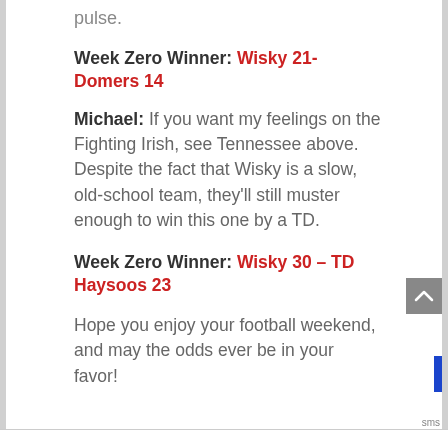pulse.
Week Zero Winner: Wisky 21- Domers 14
Michael: If you want my feelings on the Fighting Irish, see Tennessee above. Despite the fact that Wisky is a slow, old-school team, they'll still muster enough to win this one by a TD.
Week Zero Winner: Wisky 30 – TD Haysoos 23
Hope you enjoy your football weekend, and may the odds ever be in your favor!